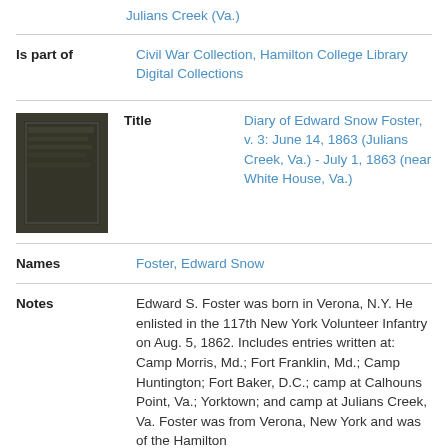Julians Creek (Va.)
| Is part of | Civil War Collection, Hamilton College Library Digital Collections |
| Title | Diary of Edward Snow Foster, v. 3: June 14, 1863 (Julians Creek, Va.) - July 1, 1863 (near White House, Va.) |
| Names | Foster, Edward Snow |
| Notes | Edward S. Foster was born in Verona, N.Y. He enlisted in the 117th New York Volunteer Infantry on Aug. 5, 1862. Includes entries written at: Camp Morris, Md.; Fort Franklin, Md.; Camp Huntington; Fort Baker, D.C.; camp at Calhouns Point, Va.; Yorktown; and camp at Julians Creek, Va. Foster was from Verona, New York and was of the Hamilton |